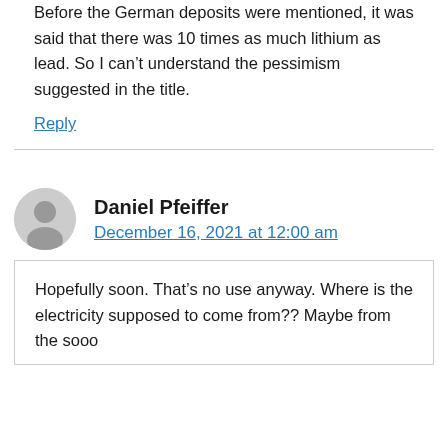Before the German deposits were mentioned, it was said that there was 10 times as much lithium as lead. So I can't understand the pessimism suggested in the title.
Reply
Daniel Pfeiffer
December 16, 2021 at 12:00 am
Hopefully soon. That's no use anyway. Where is the electricity supposed to come from?? Maybe from the sooo